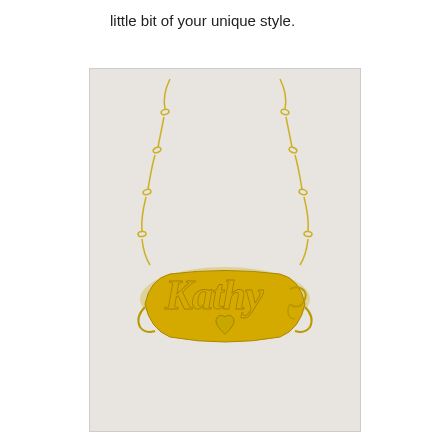little bit of your unique style.
[Figure (photo): A gold name necklace spelling 'Kathy' in cursive script with decorative flourishes and a heart, hanging on a figaro chain against a light background.]